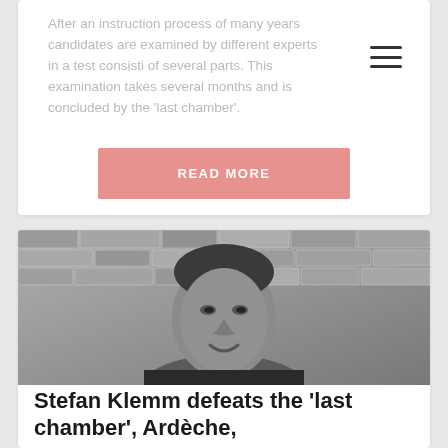After an instruction process of many years candidates are examined by different experts in a test consisting of several parts. This examination takes several months and is concluded by the 'last chamber'.
[Figure (other): READ MORE button — pink/salmon rounded rectangle button with white uppercase bold text]
[Figure (photo): Black and white photo of Stefan Klemm, a man smiling in front of a stone wall, wearing a black t-shirt]
Stefan Klemm defeats the 'last chamber', Ardèche,